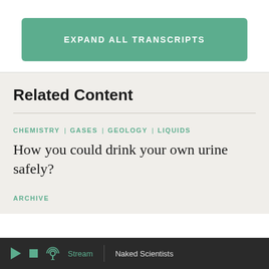EXPAND ALL TRANSCRIPTS
Related Content
CHEMISTRY | GASES | GEOLOGY | LIQUIDS
How you could drink your own urine safely?
ARCHIVE
Stream   Naked Scientists